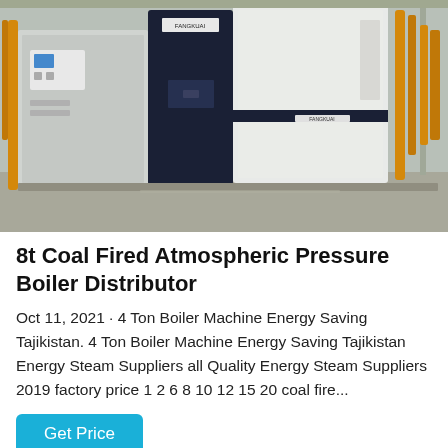[Figure (photo): Industrial boiler equipment in a factory setting. Large white and dark blue boiler units with piping and control panels visible, yellow/orange pipes on the sides, concrete floor.]
8t Coal Fired Atmospheric Pressure Boiler Distributor
Oct 11, 2021 · 4 Ton Boiler Machine Energy Saving Tajikistan. 4 Ton Boiler Machine Energy Saving Tajikistan Energy Steam Suppliers all Quality Energy Steam Suppliers 2019 factory price 1 2 6 8 10 12 15 20 coal fire...
Get Price